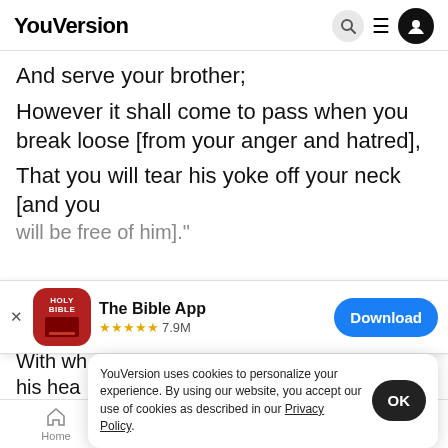YouVersion
And serve your brother;
However it shall come to pass when you break loose [from your anger and hatred],
That you will tear his yoke off your neck [and you will be free of him]."
[Figure (screenshot): App store banner for The Bible App with Holy Bible icon, 5-star rating 7.9M, and Download button]
With wh
his hea
YouVersion uses cookies to personalize your experience. By using our website, you accept our use of cookies as described in our Privacy Policy.
very near: then I will kill my brother, Jacob."
Home   Bible   Plans   Videos